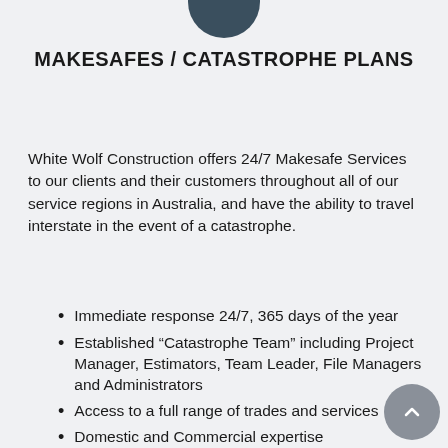[Figure (logo): Dark teal/navy partial circle logo at top center, cropped at top edge]
MAKESAFES / CATASTROPHE PLANS
White Wolf Construction offers 24/7 Makesafe Services to our clients and their customers throughout all of our service regions in Australia, and have the ability to travel interstate in the event of a catastrophe.
Immediate response 24/7, 365 days of the year
Established “Catastrophe Team” including Project Manager, Estimators, Team Leader, File Managers and Administrators
Access to a full range of trades and services
Domestic and Commercial expertise
Provide management reporting to Insurers and Loss Adjusters